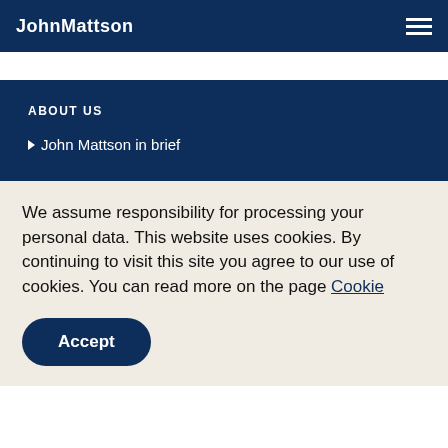JohnMattson
ABOUT US
John Mattson in brief
We assume responsibility for processing your personal data. This website uses cookies. By continuing to visit this site you agree to our use of cookies. You can read more on the page Cookie
Accept